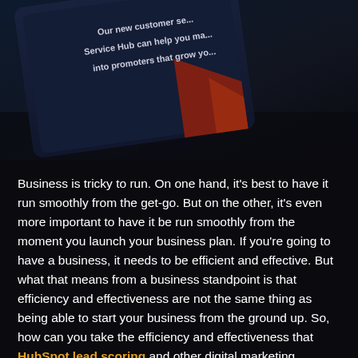[Figure (screenshot): Partial screenshot of a dark-themed HubSpot interface showing text 'Our new customer se... Service Hub can help you ma... into promoters that grow yo...' on a dark navy/black background with a red geometric accent in the corner.]
Business is tricky to run. On one hand, it's best to have it run smoothly from the get-go. But on the other, it's even more important to have it be run smoothly from the moment you launch your business plan. If you're going to have a business, it needs to be efficient and effective. But what that means from a business standpoint is that efficiency and effectiveness are not the same thing as being able to start your business from the ground up. So, how can you take the efficiency and effectiveness that HubSpot lead scoring and other digital marketing programs provide and take them one step further?